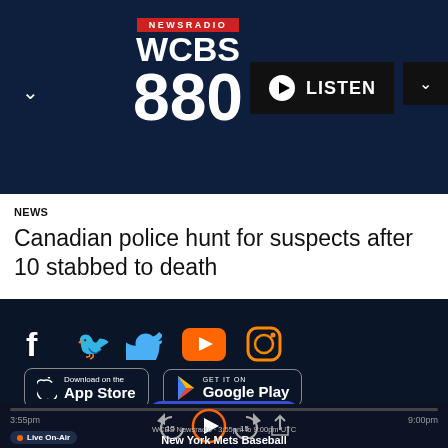[Figure (logo): WCBS Newsradio 880 logo with red NEWSRADIO banner and large white text]
[Figure (screenshot): LISTEN button with play icon, and dropdown chevron button]
NEWS
Canadian police hunt for suspects after 10 stabbed to death
[Figure (infographic): Social media icons: Facebook, Twitter, YouTube (orange), Instagram]
[Figure (screenshot): App Store download button and Google Play download button]
View Guide
3:55pm  Live On-Air    WCBS Newsradio  3:55pm to 9:00pm UTC    New York Mets Baseball    9:00pm